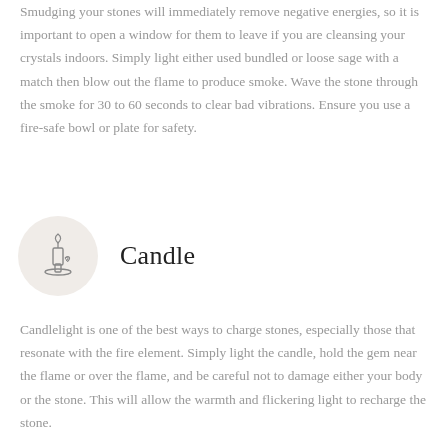Smudging your stones will immediately remove negative energies, so it is important to open a window for them to leave if you are cleansing your crystals indoors. Simply light either used bundled or loose sage with a match then blow out the flame to produce smoke. Wave the stone through the smoke for 30 to 60 seconds to clear bad vibrations. Ensure you use a fire-safe bowl or plate for safety.
[Figure (illustration): Circular beige icon with a line drawing of a candle on a holder/plate]
Candle
Candlelight is one of the best ways to charge stones, especially those that resonate with the fire element. Simply light the candle, hold the gem near the flame or over the flame, and be careful not to damage either your body or the stone. This will allow the warmth and flickering light to recharge the stone.